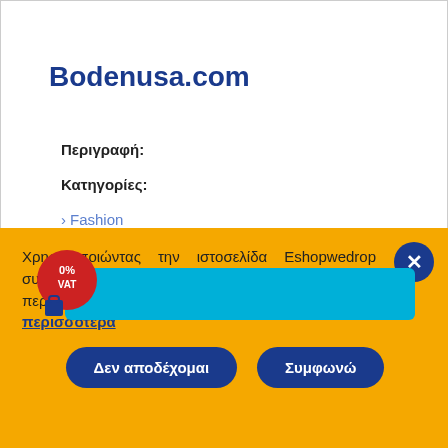Bodenusa.com
Περιγραφή:
Κατηγορίες:
› Fashion
[Figure (screenshot): Ad banner with 0% VAT badge and cyan background]
Χρησιμοποιώντας την ιστοσελίδα Eshopwedrop συμφωνείτε ότι χρησιμοποιούμε cookies όπως περιγράφεται στην πολιτική για τα cookies. Διαβάστε περισσότερα
Δεν αποδέχομαι
Συμφωνώ